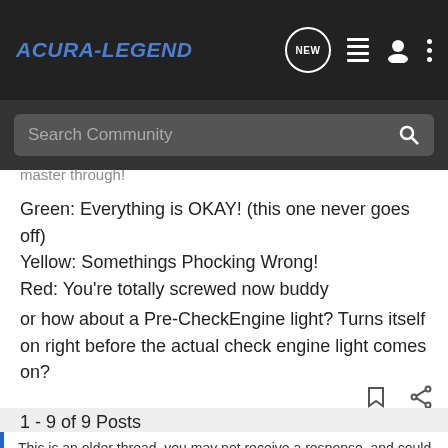ACURA-LEGEND
master through!
Green: Everything is OKAY! (this one never goes off)
Yellow: Somethings Phocking Wrong!
Red: You're totally screwed now buddy
or how about a Pre-CheckEngine light? Turns itself on right before the actual check engine light comes on?
1 - 9 of 9 Posts
This is an older thread, you may not receive a response, and could be reviving an old thread. Please consider creating a new thread.